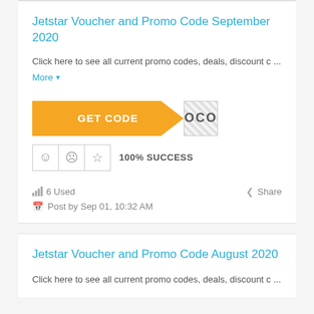Jetstar Voucher and Promo Code September 2020
Click here to see all current promo codes, deals, discount c ...
More ▾
[Figure (other): GET CODE button with orange background and diagonal cut revealing partially hidden code text 'OCO' on hatched background]
100% SUCCESS
6 Used
Share
Post by Sep 01, 10:32 AM
Jetstar Voucher and Promo Code August 2020
Click here to see all current promo codes, deals, discount c ...